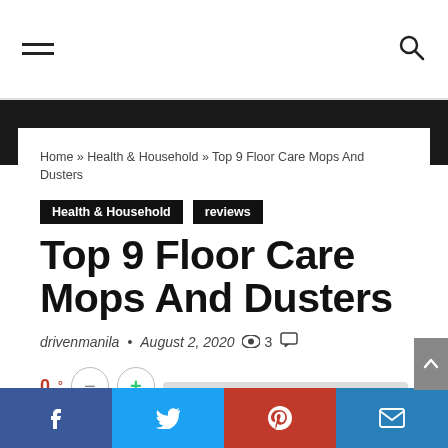Navigation bar with hamburger menu and search icon
Home » Health & Household » Top 9 Floor Care Mops And Dusters
Health & Household   reviews
Top 9 Floor Care Mops And Dusters
drivenmanila • August 2, 2020  👁 3  💬
0°  −  +  [rating bar]
Social share bar: Facebook, Twitter, Pinterest, Email